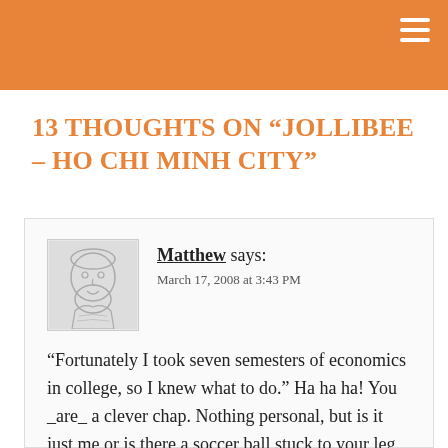13 THOUGHTS ON “JOLLIBEE – HO CHI MINH CITY”
“Fortunately I took seven semesters of economics in college, so I knew what to do.” Ha ha ha! You _are_ a clever chap. Nothing personal, but is it just me or is there a soccer ball stuck to your leg whilst you befriend that jolly bee?